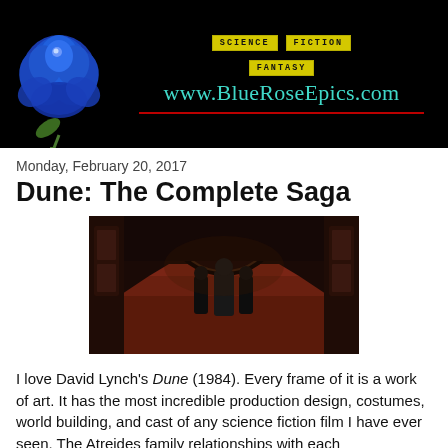[Figure (logo): Blue Rose Epics website header banner with a blue rose illustration on the left, yellow genre labels reading SCIENCE FICTION FANTASY, and the site URL www.BlueRoseEpics.com in teal text on a black background]
Monday, February 20, 2017
Dune: The Complete Saga
[Figure (photo): A dark cinematic still from the 1984 Dune film showing several figures in a grand ornate hall with red steps and elaborate architecture]
I love David Lynch's Dune (1984). Every frame of it is a work of art. It has the most incredible production design, costumes, world building, and cast of any science fiction film I have ever seen. The Atreides family relationships with each